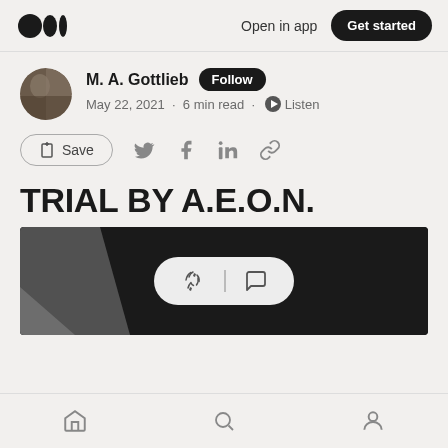Open in app  Get started
M. A. Gottlieb  Follow
May 22, 2021 · 6 min read · Listen
Save
TRIAL BY A.E.O.N.
[Figure (photo): Dark hero image partially visible with a light gray lower-left corner, with a floating reaction bar containing clap and comment icons]
Home  Search  Profile navigation icons